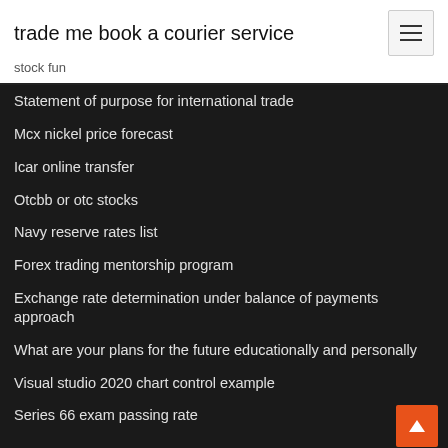trade me book a courier service
stock fun
Statement of purpose for international trade
Mcx nickel price forecast
Icar online transfer
Otcbb or otc stocks
Navy reserve rates list
Forex trading mentorship program
Exchange rate determination under balance of payments approach
What are your plans for the future educationally and personally
Visual studio 2020 chart control example
Series 66 exam passing rate